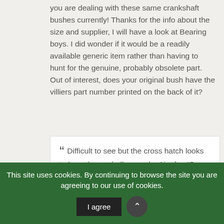you are dealing with these same crankshaft bushes currently! Thanks for the info about the size and supplier, I will have a look at Bearing boys. I did wonder if it would be a readily available generic item rather than having to hunt for the genuine, probably obsolete part. Out of interest, does your original bush have the villiers part number printed on the back of it?
Difficult to see but the cross hatch looks to be rather a shallow angle. Aim for 45
This site uses cookies. By continuing to browse the site you are agreeing to our use of cookies.